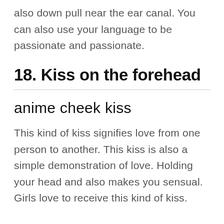also down pull near the ear canal. You can also use your language to be passionate and passionate.
18. Kiss on the forehead
anime cheek kiss
This kind of kiss signifies love from one person to another. This kiss is also a simple demonstration of love. Holding your head and also makes you sensual. Girls love to receive this kind of kiss.